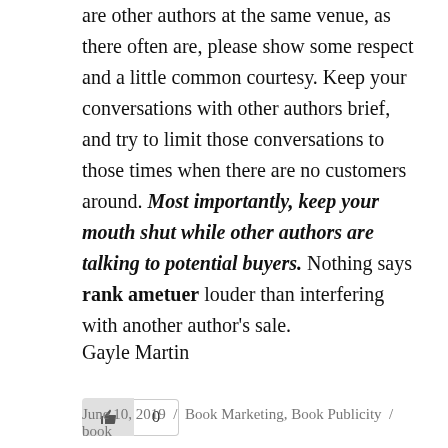are other authors at the same venue, as there often are, please show some respect and a little common courtesy. Keep your conversations with other authors brief, and try to limit those conversations to those times when there are no customers around. Most importantly, keep your mouth shut while other authors are talking to potential buyers. Nothing says rank ametuer louder than interfering with another author's sale.
Gayle Martin
[Figure (other): Like button widget with thumbs up icon and count of 0]
June 10, 2019 / Book Marketing, Book Publicity / book